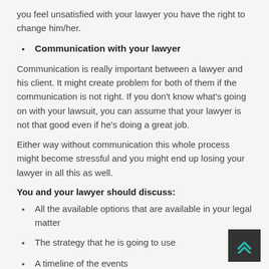you feel unsatisfied with your lawyer you have the right to change him/her.
Communication with your lawyer
Communication is really important between a lawyer and his client. It might create problem for both of them if the communication is not right. If you don't know what's going on with your lawsuit, you can assume that your lawyer is not that good even if he's doing a great job.
Either way without communication this whole process might become stressful and you might end up losing your lawyer in all this as well.
You and your lawyer should discuss:
All the available options that are available in your legal matter
The strategy that he is going to use
A timeline of the events